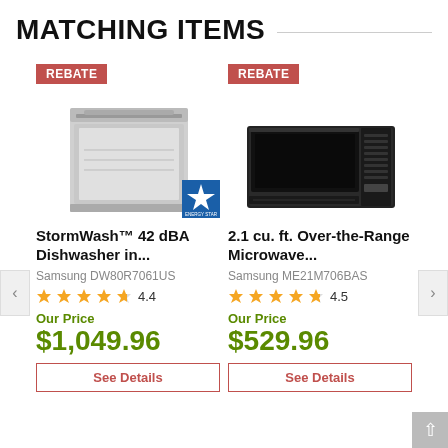MATCHING ITEMS
[Figure (photo): Samsung stainless steel dishwasher with Energy Star badge]
[Figure (photo): Samsung black stainless over-the-range microwave]
StormWash™ 42 dBA Dishwasher in...
2.1 cu. ft. Over-the-Range Microwave...
Samsung DW80R7061US
Samsung ME21M706BAS
4.4
4.5
Our Price
$1,049.96
Our Price
$529.96
See Details
See Details